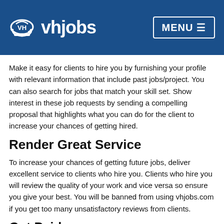vhjobs  MENU
Make it easy for clients to hire you by furnishing your profile with relevant information that include past jobs/project. You can also search for jobs that match your skill set. Show interest in these job requests by sending a compelling proposal that highlights what you can do for the client to increase your chances of getting hired.
Render Great Service
To increase your chances of getting future jobs, deliver excellent service to clients who hire you. Clients who hire you will review the quality of your work and vice versa so ensure you give your best. You will be banned from using vhjobs.com if you get too many unsatisfactory reviews from clients.
Get Paid